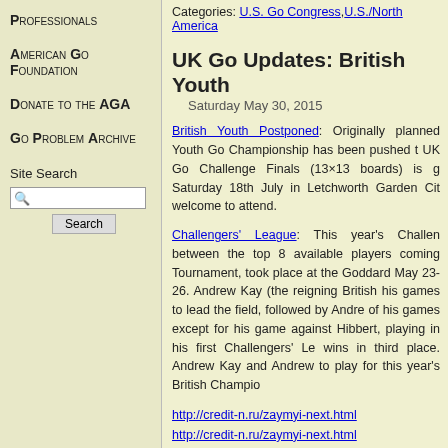Professionals
American Go Foundation
Donate to the AGA
Go Problem Archive
Site Search
Categories: U.S. Go Congress, U.S./North America
UK Go Updates: British Youth
Saturday May 30, 2015
British Youth Postponed: Originally planned ... Youth Go Championship has been pushed t... UK Go Challenge Finals (13×13 boards) is g... Saturday 18th July in Letchworth Garden Cit... welcome to attend.
Challengers' League: This year's Challen... between the top 8 available players coming... Tournament, took place at the Goddard... May 23-26. Andrew Kay (the reigning British... his games to lead the field, followed by Andre... of his games except for his game against... Hibbert, playing in his first Challengers' Le... wins in third place. Andrew Kay and Andrew... to play for this year's British Champio... http://credit-n.ru/zaymyi-next.html http://credit-n.ru/zaymyi-next.html http://credit-n.ru/zaymyi-next.html http://credit-n.ru/zaymyi-next.html http://credit-n.ru/zaymyi-next.html